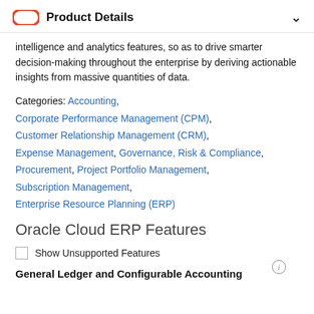Product Details
intelligence and analytics features, so as to drive smarter decision-making throughout the enterprise by deriving actionable insights from massive quantities of data.
Categories: Accounting, Corporate Performance Management (CPM), Customer Relationship Management (CRM), Expense Management, Governance, Risk & Compliance, Procurement, Project Portfolio Management, Subscription Management, Enterprise Resource Planning (ERP)
Oracle Cloud ERP Features
Show Unsupported Features
General Ledger and Configurable Accounting